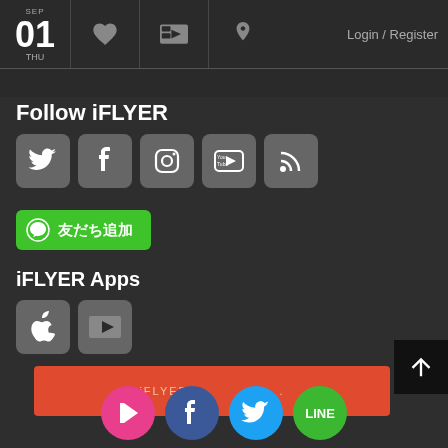SEP 01 THU | Login / Register
Follow iFLYER
[Figure (infographic): Social media icon buttons: Twitter, Facebook, Instagram, YouTube, RSS feed]
[Figure (infographic): LINE 友だち追加 (Add Friend) green button]
iFLYER Apps
[Figure (infographic): App store icon buttons: Apple App Store, ticket/app icon]
iFLYER　　　　　　　.
[Figure (infographic): Bottom share icons: iFLYER (pink), Facebook (blue), Twitter (light blue), LINE (green)]